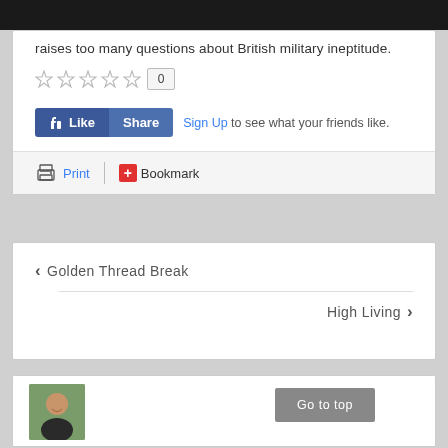raises too many questions about British military ineptitude.
[Figure (other): Star rating widget showing 5 empty stars and a vote count of 0]
[Figure (other): Facebook Like and Share buttons with Sign Up link]
[Figure (other): Print and Bookmark action links]
Golden Thread Break
High Living
[Figure (photo): Author avatar photo (man smiling, outdoor background)]
[Figure (other): Go to top button]